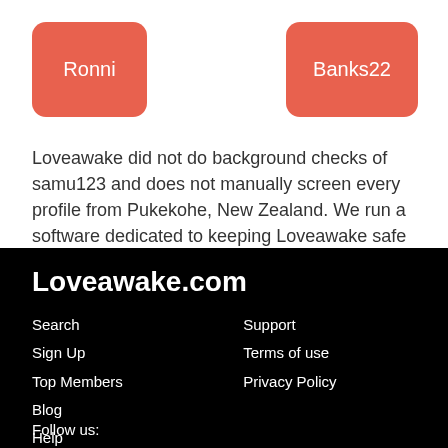[Figure (other): Salmon/coral rounded button labeled 'Ronni']
[Figure (other): Salmon/coral rounded button labeled 'Banks22']
Loveawake did not do background checks of samu123 and does not manually screen every profile from Pukekohe, New Zealand. We run a software dedicated to keeping Loveawake safe from malicious visitors.
Loveawake.com
Search
Sign Up
Top Members
Blog
Help
Support
Terms of use
Privacy Policy
Follow us: